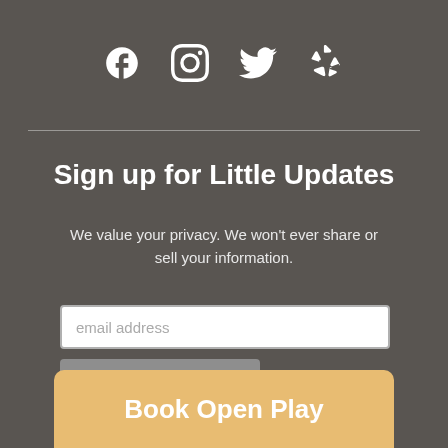[Figure (illustration): Row of four social media icons: Facebook, Instagram, Twitter, Yelp]
Sign up for Little Updates
We value your privacy. We won't ever share or sell your information.
[Figure (other): Email input field with placeholder 'email address' and a Subscribe button below]
Book Open Play